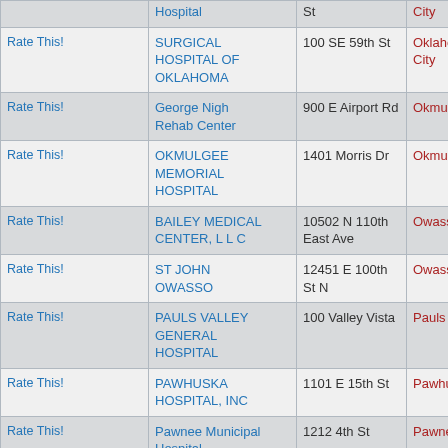|  | Hospital | Address | City | Zip |
| --- | --- | --- | --- | --- |
| Rate This! | Hospital | St | City |  |
| Rate This! | SURGICAL HOSPITAL OF OKLAHOMA | 100 SE 59th St | Oklahoma City | 73129 |
| Rate This! | George Nigh Rehab Center | 900 E Airport Rd | Okmulgee | 74447 |
| Rate This! | OKMULGEE MEMORIAL HOSPITAL | 1401 Morris Dr | Okmulgee | 74447 |
| Rate This! | BAILEY MEDICAL CENTER, L L C | 10502 N 110th East Ave | Owasso | 74055 |
| Rate This! | ST JOHN OWASSO | 12451 E 100th St N | Owasso | 74055 |
| Rate This! | PAULS VALLEY GENERAL HOSPITAL | 100 Valley Vista | Pauls Valley | 73075 |
| Rate This! | PAWHUSKA HOSPITAL, INC | 1101 E 15th St | Pawhuska | 74056 |
| Rate This! | Pawnee Municipal Hospital | 1212 4th St | Pawnee | 74058 |
| Rate This! | PERRY | 501 N 14th St | Perry | 73077 |